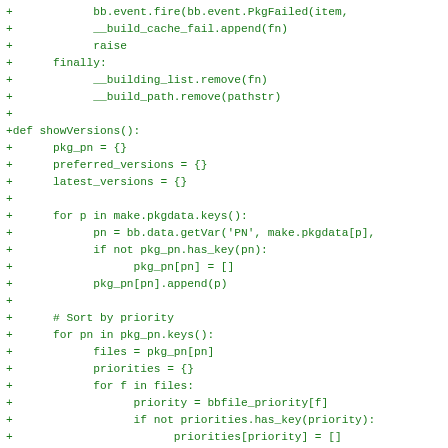code diff showing Python functions showVersions and related code